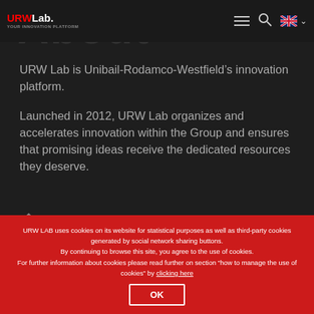URWLab. logo with hamburger menu, search icon, UK flag, chevron
About
URW Lab is Unibail-Rodamco-Westfield’s innovation platform.
Launched in 2012, URW Lab organizes and accelerates innovation within the Group and ensures that promising ideas receive the dedicated resources they deserve.
7 Place du Chancelier Adenauer, 75016 Paris
URW LAB uses cookies on its website for statistical purposes as well as third-party cookies generated by social network sharing buttons.
By continuing to browse this site, you agree to the use of cookies.
For further information about cookies please read further on section “how to manage the use of cookies” by clicking here
OK